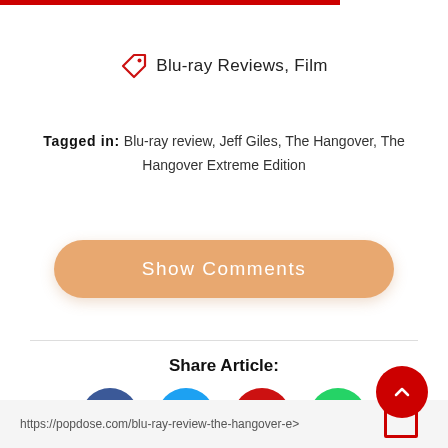[Figure (other): Red horizontal bar at top of page]
Blu-ray Reviews, Film
Tagged in: Blu-ray review, Jeff Giles, The Hangover, The Hangover Extreme Edition
[Figure (other): Show Comments button (orange rounded rectangle)]
Share Article:
[Figure (other): Four social sharing icons: Facebook (blue circle), Twitter (light blue circle), Email (red circle), WhatsApp (green circle)]
https://popdose.com/blu-ray-review-the-hangover-e>